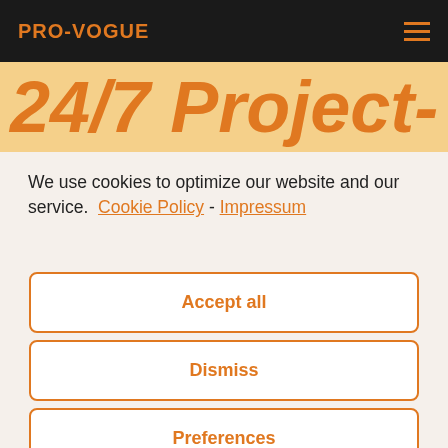PRO-VOGUE
24/7 Project-
We use cookies to optimize our website and our service.  Cookie Policy - Impressum
Accept all
Dismiss
Preferences